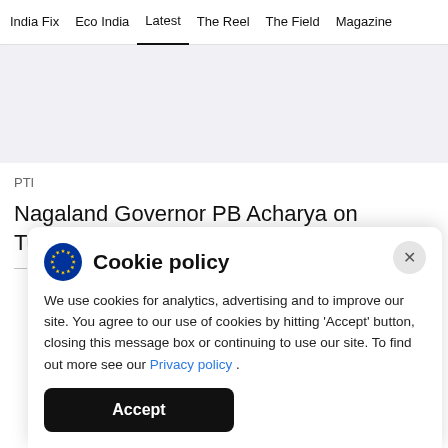India Fix  Eco India  Latest  The Reel  The Field  Magazine
[Figure (other): Light gray advertisement placeholder area]
PTI
Nagaland Governor PB Acharya on Tuesday
Cookie policy
We use cookies for analytics, advertising and to improve our site. You agree to our use of cookies by hitting 'Accept' button, closing this message box or continuing to use our site. To find out more see our Privacy policy .
Accept